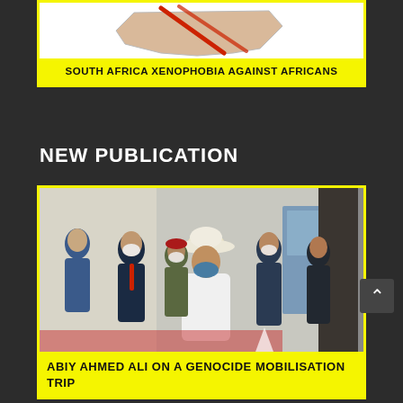[Figure (illustration): Illustration of South Africa map with red slash/mark over it, white background]
SOUTH AFRICA XENOPHOBIA AGAINST AFRICANS
NEW PUBLICATION
[Figure (photo): Group of men walking outdoors wearing face masks; center figure in white shirt and wide-brim hat waving; others in suits]
ABIY AHMED ALI ON A GENOCIDE MOBILISATION TRIP